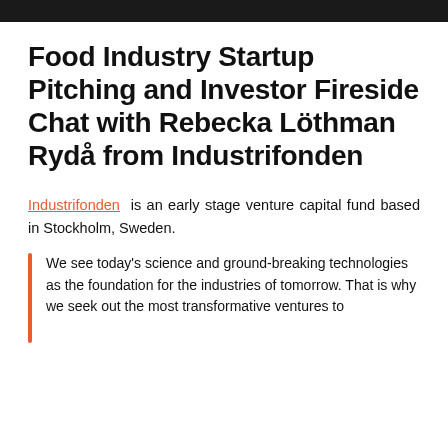Food Industry Startup Pitching and Investor Fireside Chat with Rebecka Löthman Rydå from Industrifonden
Industrifonden is an early stage venture capital fund based in Stockholm, Sweden.
We see today's science and ground-breaking technologies as the foundation for the industries of tomorrow. That is why we seek out the most transformative ventures to